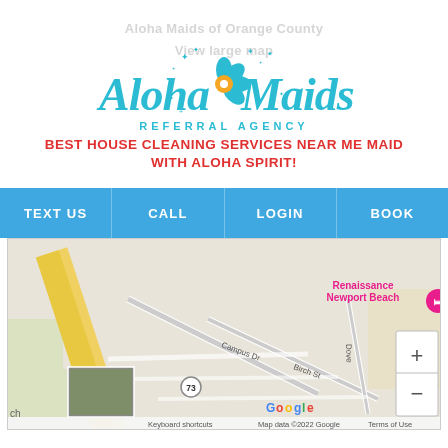[Figure (logo): Aloha Maids Referral Agency logo with teal cursive text and flower icon, plus watermark text 'Aloha Maids of Orange County' and 'View large map']
BEST HOUSE CLEANING SERVICES NEAR ME MAID WITH ALOHA SPIRIT!
TEXT US | CALL | LOGIN | BOOK
[Figure (map): Google Maps screenshot showing Renaissance Newport Beach area with streets Campus Dr, Birch St, Dove St, highway 73, and Google branding. Map data ©2022 Google. Keyboard shortcuts. Terms of Use.]